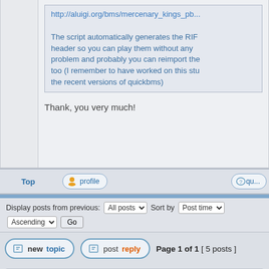http://aluigi.org/bms/mercenary_kings_pb...
The script automatically generates the RIF header so you can play them without any problem and probably you can reimport them too (I remember to have worked on this stuff in the recent versions of quickbms)
Thank, you very much!
Top
profile
qu...
Display posts from previous: All posts Sort by Post time Ascending Go
new topic   post reply   Page 1 of 1  [ 5 posts ]
Board index » Game Archive    All times are UTC
You cannot post new topics in this forum
You cannot reply to topics in this forum
You cannot edit your posts in this forum
You cannot delete your posts in this forum